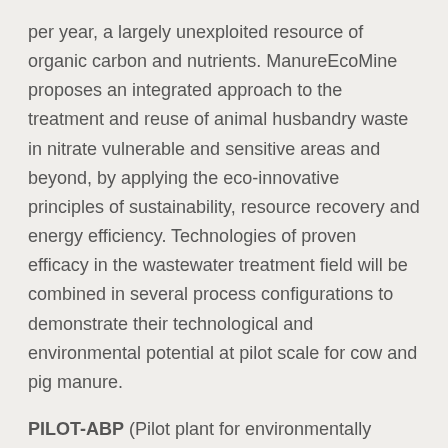per year, a largely unexploited resource of organic carbon and nutrients. ManureEcoMine proposes an integrated approach to the treatment and reuse of animal husbandry waste in nitrate vulnerable and sensitive areas and beyond, by applying the eco-innovative principles of sustainability, resource recovery and energy efficiency. Technologies of proven efficacy in the wastewater treatment field will be combined in several process configurations to demonstrate their technological and environmental potential at pilot scale for cow and pig manure.
PILOT-ABP (Pilot plant for environmentally friendly animal by-products industries, EU budget contribution: €1.79 mln, Project coordinator: Instituto Tecnológico del Calzado y Conexas, Elda, Spain): Animal by-products (ABPs) are materials of animal origin that people do not consume and represent a significant part of the biowaste stream. Over 20 million tons emerge annually from EU from slaughterhouses, plants producing food for